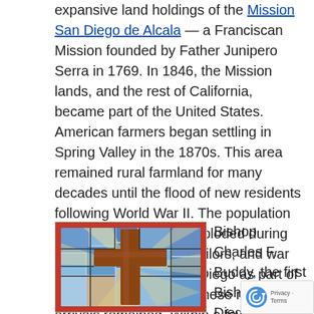expansive land holdings of the Mission San Diego de Alcala — a Franciscan Mission founded by Father Junipero Serra in 1769. In 1846, the Mission lands, and the rest of California, became part of the United States. American farmers began settling in Spring Valley in the 1870s. This area remained rural farmland for many decades until the flood of new residents following World War II. The population of San Diego County exploded during the WWII as soldiers, sailors, and war workers rushed to San Diego as part of the war effort. Many of these new arrivals remained. Within a few years, Santa Sophia Church became part of the steady growth that built up the East County.
[Figure (illustration): Stained glass window featuring a large brown cross with radiating light beams against a blue geometric background]
Bishop Charles F. Buddy, the first Bishop of San Diego, established the Catholic Community of